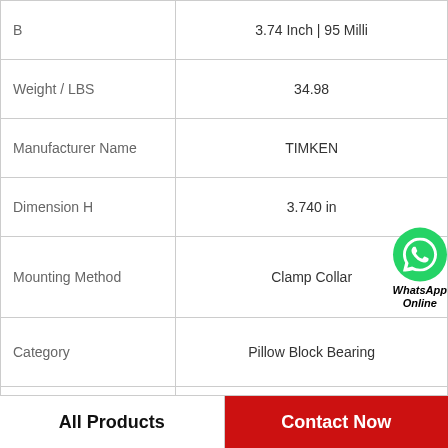| Property | Value |
| --- | --- |
| B | 3.74 Inch | 95 Milli |
| Weight / LBS | 34.98 |
| Manufacturer Name | TIMKEN |
| Dimension H | 3.740 in |
| Mounting Method | Clamp Collar |
| Category | Pillow Block Bearing |
| Housing Material | Cast Iron |
| Bolt Spacing Minimum | 0 Inch | 0Millimeter |
[Figure (logo): WhatsApp Online badge with green WhatsApp icon and text 'WhatsApp Online']
All Products
Contact Now